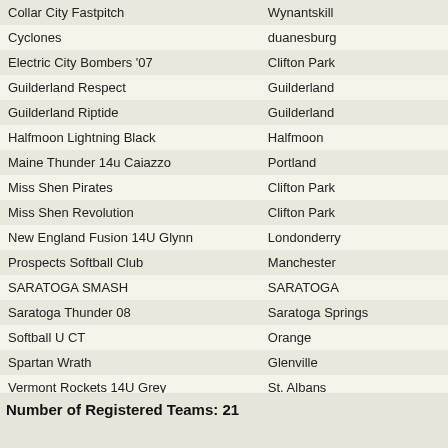| Team | City |
| --- | --- |
| Collar City Fastpitch | Wynantskill |
| Cyclones | duanesburg |
| Electric City Bombers '07 | Clifton Park |
| Guilderland Respect | Guilderland |
| Guilderland Riptide | Guilderland |
| Halfmoon Lightning Black | Halfmoon |
| Maine Thunder 14u Caiazzo | Portland |
| Miss Shen Pirates | Clifton Park |
| Miss Shen Revolution | Clifton Park |
| New England Fusion 14U Glynn | Londonderry |
| Prospects Softball Club | Manchester |
| SARATOGA SMASH | SARATOGA |
| Saratoga Thunder 08 | Saratoga Springs |
| Softball U CT | Orange |
| Spartan Wrath | Glenville |
| Vermont Rockets 14U Grey | St. Albans |
| Wachusett Stars 14u Green | Princeton |
| Waves Morales | West Greenwich |
Number of Registered Teams: 21